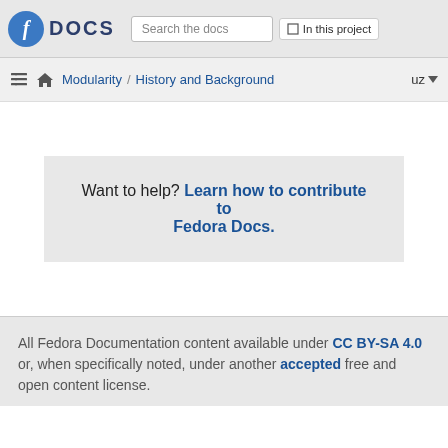Fedora DOCS — Search the docs — In this project
Modularity / History and Background — uz
Want to help? Learn how to contribute to Fedora Docs.
All Fedora Documentation content available under CC BY-SA 4.0 or, when specifically noted, under another accepted free and open content license.